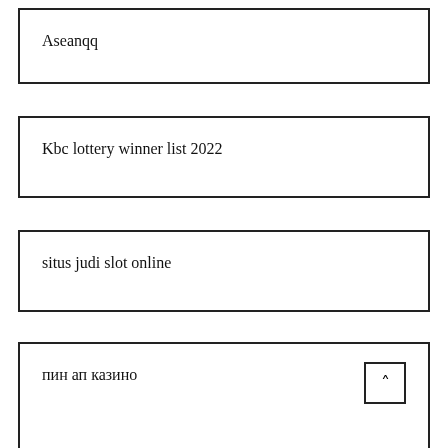Aseanqq
Kbc lottery winner list 2022
situs judi slot online
пин ап казино